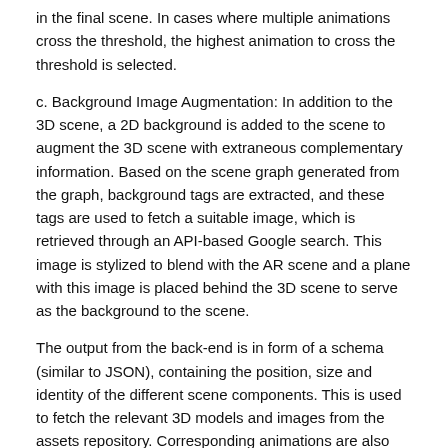in the final scene. In cases where multiple animations cross the threshold, the highest animation to cross the threshold is selected.
c. Background Image Augmentation: In addition to the 3D scene, a 2D background is added to the scene to augment the 3D scene with extraneous complementary information. Based on the scene graph generated from the graph, background tags are extracted, and these tags are used to fetch a suitable image, which is retrieved through an API-based Google search. This image is stylized to blend with the AR scene and a plane with this image is placed behind the 3D scene to serve as the background to the scene.
The output from the back-end is in form of a schema (similar to JSON), containing the position, size and identity of the different scene components. This is used to fetch the relevant 3D models and images from the assets repository. Corresponding animations are also fetched. For final rendering, the user selects a surface in the scene for rendering. After the surface detection, the final 3D scene is rendered using the provided scene characteristics.
Example Methodologies